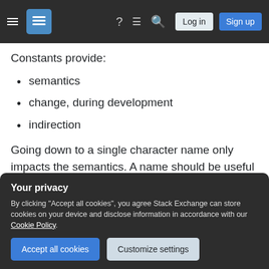Stack Exchange navigation bar with logo, icons, Log in and Sign up buttons
Constants provide:
semantics
change, during development
indirection
Going down to a single character name only impacts the semantics. A name should be useful as a comment and clear in context. It should express meaning, not the value. If it can do all that with a single character fine. If it can't, please don't.
Your privacy
By clicking "Accept all cookies", you agree Stack Exchange can store cookies on your device and disclose information in accordance with our Cookie Policy.
Accept all cookies  Customize settings